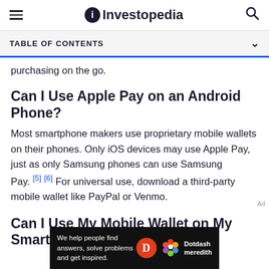Investopedia
TABLE OF CONTENTS
purchasing on the go.
Can I Use Apple Pay on an Android Phone?
Most smartphone makers use proprietary mobile wallets on their phones. Only iOS devices may use Apple Pay, just as only Samsung phones can use Samsung Pay.[5][6] For universal use, download a third-party mobile wallet like PayPal or Venmo.
Can I Use My Mobile Wallet on My Smartwatch?
[Figure (other): Dotdash Meredith advertisement banner: 'We help people find answers, solve problems and get inspired.']